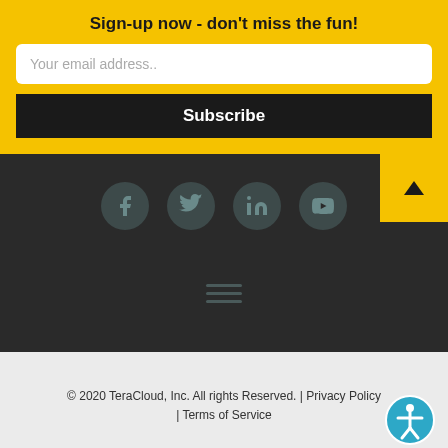Sign-up now - don't miss the fun!
Your email address..
Subscribe
[Figure (infographic): Social media icons: Facebook, Twitter, LinkedIn, YouTube in dark circular buttons on dark background, plus a yellow scroll-to-top button with triangle and hamburger menu icon]
© 2020 TeraCloud, Inc. All rights Reserved. | Privacy Policy | Terms of Service